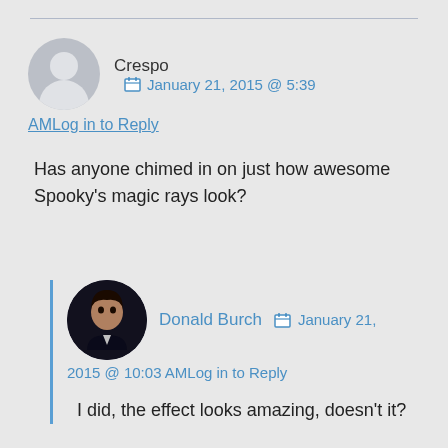Crespo   January 21, 2015 @ 5:39 AM  Log in to Reply
Has anyone chimed in on just how awesome Spooky's magic rays look?
Donald Burch   January 21, 2015 @ 10:03 AM  Log in to Reply
I did, the effect looks amazing, doesn't it?